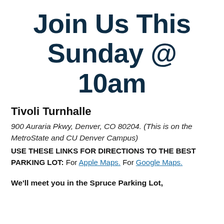Join Us This Sunday @ 10am
Tivoli Turnhalle
900 Auraria Pkwy, Denver, CO 80204. (This is on the MetroState and CU Denver Campus) USE THESE LINKS FOR DIRECTIONS TO THE BEST PARKING LOT: For Apple Maps. For Google Maps.
We'll meet you in the Spruce Parking Lot,